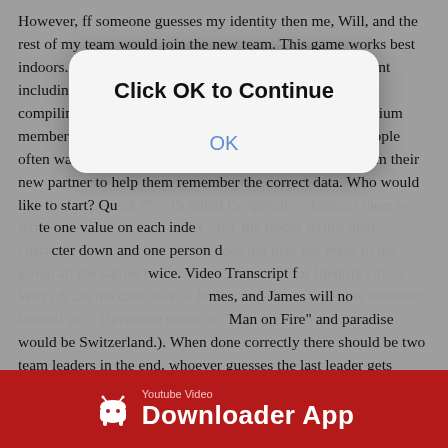However, ff someone guesses my identity then me, Will, and the rest of my team would join the new team. This game works best indoors. Scan QR codes to connect to tons of digital content including video tutorials. presented by Mark Collard. … compiling a list of favourites is only available to our premium members. ), Activities (e.g. Further to the above point, people often want to write down the information they receive from their new partner to help them remember the correct data. Who would like to start? Quick (5 – 15 mins) Cooperative. Instruct them to write one value on each index card. the leader writes their character down and one person does not play but reads to the group all the names twice. Video Transcript for Identity Crisis Why? S...ss the card over to James, and James will now introduce himself as ... (favourite movie is "Man on Fire" and paradise would be Switzerland.). When done correctly there should be two team leaders in the end, whoever guesses the last leader gets everyone on their team. Distribute a set of blank index cards to your group, one per person. This inventive name-game is a little like Chinese Whispers meets
[Figure (screenshot): Dialog box overlay with bold text 'Click OK to Continue' and blue 'OK' link button, white/light gray rounded rectangle]
[Figure (infographic): Red footer bar with Android robot icon, 'Youtube Video' label in small text, and 'Downloader App' in large white bold text]